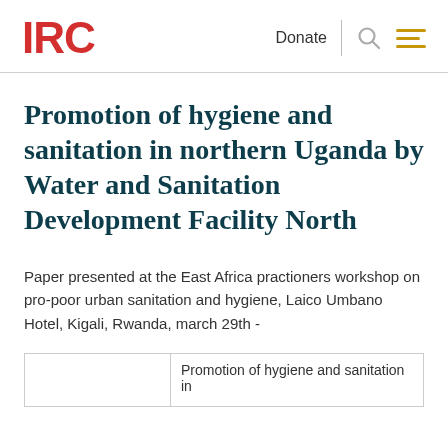IRC | Donate
Promotion of hygiene and sanitation in northern Uganda by Water and Sanitation Development Facility North
Paper presented at the East Africa practioners workshop on pro-poor urban sanitation and hygiene, Laico Umbano Hotel, Kigali, Rwanda, march 29th -
|  | Promotion of hygiene and sanitation in |